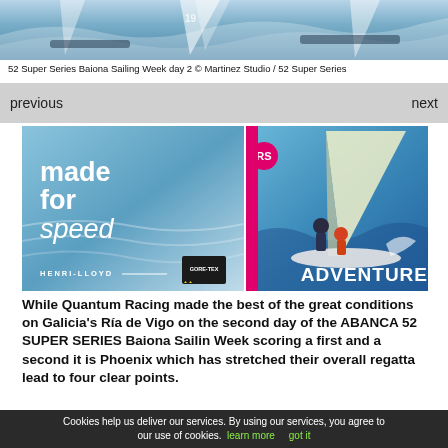[Figure (photo): Sailing boats racing with waves and sails, 52 Super Series Baiona Sailing Week day 2 photo by Martinez Studio]
52 Super Series Baiona Sailing Week day 2 © Martinez Studio / 52 Super Series
previous   next
[Figure (photo): Henri-Lloyd advertisement: made for speed, with GORE-TEX logo on blue water background]
[Figure (photo): RS sailing adventure advertisement showing two sailors on a dinghy with yellow sail, text ADVENTURE]
While Quantum Racing made the best of the great conditions on Galicia's Ría de Vigo on the second day of the ABANCA 52 SUPER SERIES Baiona Sailin Week scoring a first and a second it is Phoenix which has stretched their overall regatta lead to four clear points.
Quantum Racing won the first race of the day which was
Cookies help us deliver our services. By using our services, you agree to our use of cookies. learn more   got it